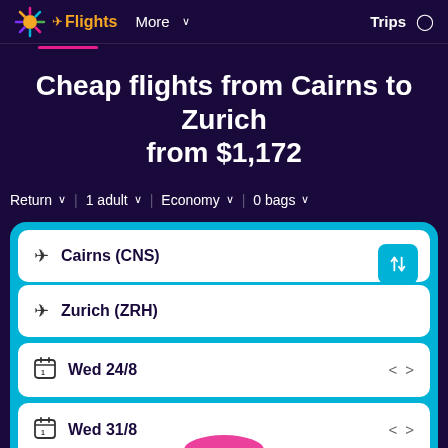Flights | More | Trips
Cheap flights from Cairns to Zurich from $1,172
Return | 1 adult | Economy | 0 bags
Cairns (CNS)
Zurich (ZRH)
Wed 24/8
Wed 31/8